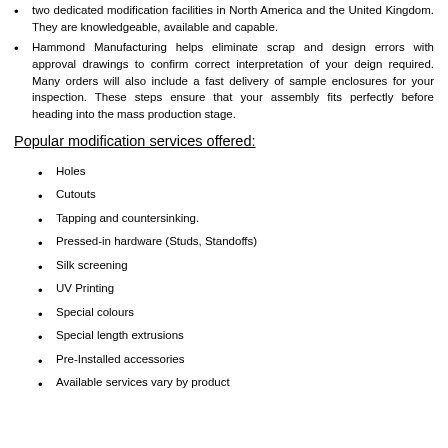two dedicated modification facilities in North America and the United Kingdom. They are knowledgeable, available and capable.
Hammond Manufacturing helps eliminate scrap and design errors with approval drawings to confirm correct interpretation of your deign required. Many orders will also include a fast delivery of sample enclosures for your inspection. These steps ensure that your assembly fits perfectly before heading into the mass production stage.
Popular modification services offered:
Holes
Cutouts
Tapping and countersinking.
Pressed-in hardware (Studs, Standoffs)
Silk screening
UV Printing
Special colours
Special length extrusions
Pre-Installed accessories
Available services vary by product